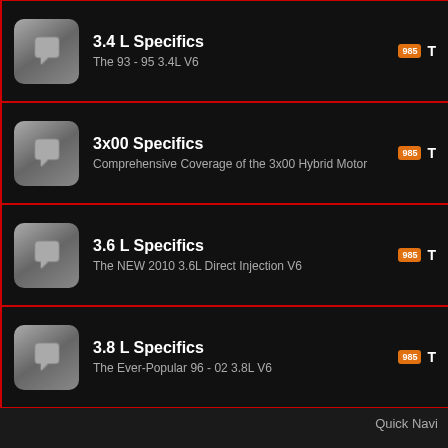3.4 L Specifics — The 93 - 95 3.4L V6
3x00 Specifics — Comprehensive Coverage of the 3x00 Hybrid Motor
3.6 L Specifics — The NEW 2010 3.6L Direct Injection V6
3.8 L Specifics — The Ever-Popular 96 - 02 3.8L V6
Quick Navi
-- VB4 Old V6FB converted
Contact Us  Hey, get me b
All times are GMT -4. The time now is 05:5
Powered by vBulletin® Version 4.2.5